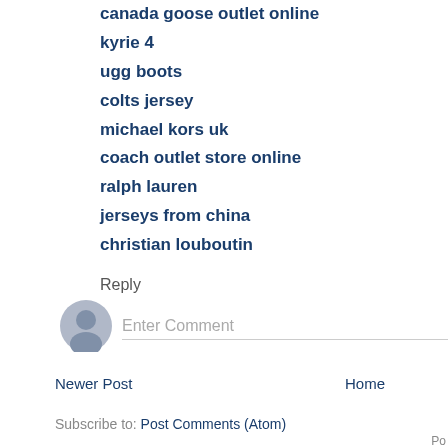canada goose outlet online
kyrie 4
ugg boots
colts jersey
michael kors uk
coach outlet store online
ralph lauren
jerseys from china
christian louboutin
Reply
[Figure (other): User avatar icon — grey silhouette of a person in a circle]
Enter Comment
Newer Post
Home
Subscribe to: Post Comments (Atom)
Po